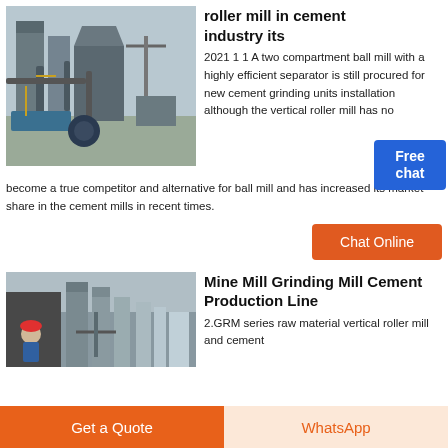[Figure (photo): Industrial cement mill facility with large silos, pipes, and conveyor equipment outdoors]
roller mill in cement industry its
2021 1 1 A two compartment ball mill with a highly efficient separator is still procured for new cement grinding units installation although the vertical roller mill has now become a true competitor and alternative for ball mill and has increased its market share in the cement mills in recent times.
[Figure (other): Free chat button/badge with illustration of person]
Chat Online
[Figure (photo): Mine mill grinding facility with worker in red hard hat and large silos in background]
Mine Mill Grinding Mill Cement Production Line
2.GRM series raw material vertical roller mill and cement
Get a Quote
WhatsApp